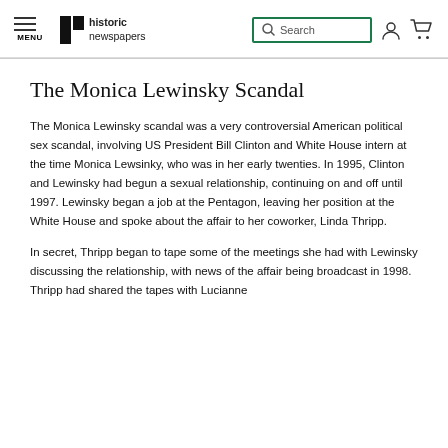historic newspapers | Search | [account icon] [cart icon] | MENU
The Monica Lewinsky Scandal
The Monica Lewinsky scandal was a very controversial American political sex scandal, involving US President Bill Clinton and White House intern at the time Monica Lewsinky, who was in her early twenties. In 1995, Clinton and Lewinsky had begun a sexual relationship, continuing on and off until 1997. Lewinsky began a job at the Pentagon, leaving her position at the White House and spoke about the affair to her coworker, Linda Thripp.
In secret, Thripp began to tape some of the meetings she had with Lewinsky discussing the relationship, with news of the affair being broadcast in 1998. Thripp had shared the tapes with Lucianne